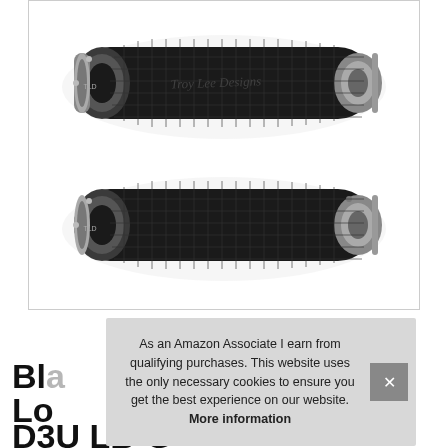[Figure (photo): Two black Troy Lee Designs bicycle handlebar grips with silver/aluminum lock-on clamps at each end. The top grip shows the Troy Lee Designs logo embossed on it. Both grips have a textured waffle/brick pattern rubber surface. Shown from a slight angle.]
As an Amazon Associate I earn from qualifying purchases. This website uses the only necessary cookies to ensure you get the best experience on our website. More information
Bla Lo D3U LB-G...